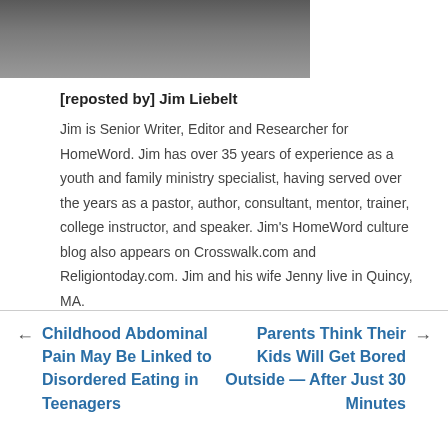[Figure (photo): Partial photo of a person wearing a dark shirt, cropped showing torso/arms area]
[reposted by] Jim Liebelt
Jim is Senior Writer, Editor and Researcher for HomeWord. Jim has over 35 years of experience as a youth and family ministry specialist, having served over the years as a pastor, author, consultant, mentor, trainer, college instructor, and speaker. Jim's HomeWord culture blog also appears on Crosswalk.com and Religiontoday.com. Jim and his wife Jenny live in Quincy, MA.
← Childhood Abdominal Pain May Be Linked to Disordered Eating in Teenagers
Parents Think Their Kids Will Get Bored Outside — After Just 30 Minutes →